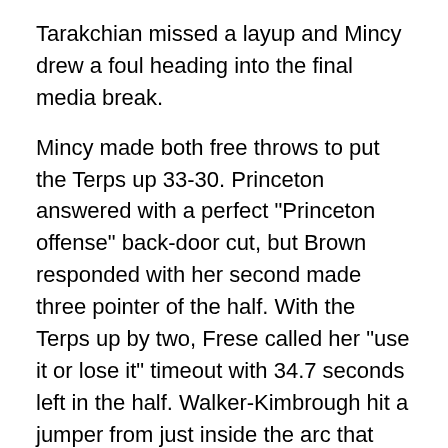Tarakchian missed a layup and Mincy drew a foul heading into the final media break.
Mincy made both free throws to put the Terps up 33-30. Princeton answered with a perfect "Princeton offense" back-door cut, but Brown responded with her second made three pointer of the half. With the Terps up by two, Frese called her "use it or lose it" timeout with 34.7 seconds left in the half. Walker-Kimbrough hit a jumper from just inside the arc that was not likely the play the coach had drawn up.
Despite shooting 58.6 percent for the half, holding a 15-12 edge on the boards and a 28-6 edge in points in the paint, the Tigers trailed 42-38 at the half. The Terps shot 51.6 percent and outscored Princeton 15-3 from beyond the arc where the Terrapins shot 5-of-12.